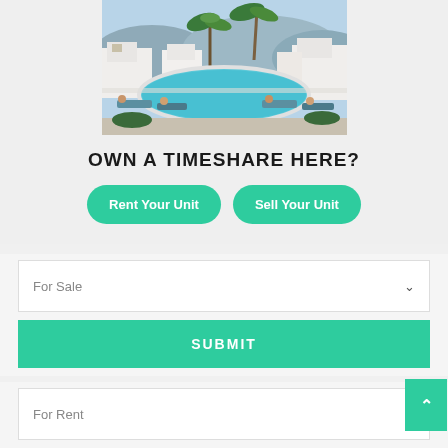[Figure (photo): Resort with swimming pool, palm trees, white buildings, and people sunbathing on lounge chairs]
OWN A TIMESHARE HERE?
Rent Your Unit
Sell Your Unit
For Sale
SUBMIT
For Rent